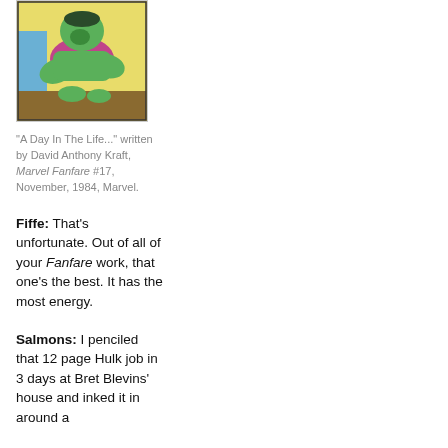[Figure (illustration): Comic book panel showing the Hulk (green figure) bent over, wearing a purple outfit, digging or pressing into brown ground, with a yellow background and blue element on left side.]
"A Day In The Life..." written by David Anthony Kraft, Marvel Fanfare #17, November, 1984, Marvel.
Fiffe: That's unfortunate. Out of all of your Fanfare work, that one's the best. It has the most energy.
Salmons: I penciled that 12 page Hulk job in 3 days at Bret Blevins' house and inked it in around a